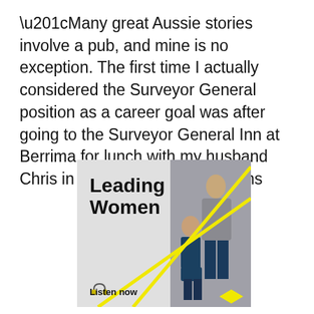“Many great Aussie stories involve a pub, and mine is no exception. The first time I actually considered the Surveyor General position as a career goal was after going to the Surveyor General Inn at Berrima for lunch with my husband Chris in 2015,” she explains
[Figure (infographic): Advertisement for 'Leading Women' podcast. Light grey background with bold black text 'Leading Women', yellow diagonal lines crossing the image, a photo of two women talking (one seated, one standing), a headphones icon, and 'Listen now' call to action with a yellow diamond shape.]